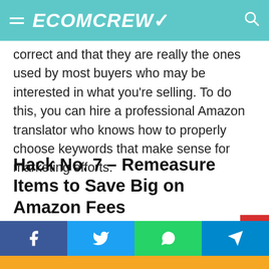ECOMCREW
correct and that they are really the ones used by most buyers who may be interested in what you’re selling. To do this, you can hire a professional Amazon translator who knows how to properly choose keywords that make sense for marketing efforts.
Hack No. 7 – Remeasure Items to Save Big on Amazon Fees
Because of the number of items they receive